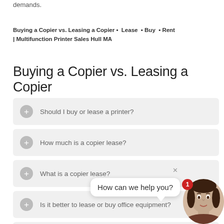demands.
Buying a Copier vs. Leasing a Copier • Lease • Buy • Rent | Multifunction Printer Sales Hull MA
Buying a Copier vs. Leasing a Copier
Should I buy or lease a printer?
How much is a copier lease?
What is a copier lease?
Is it better to lease or buy office equipment?
How much do copier leases cost?
How do printer leases work?
[Figure (screenshot): Chat widget overlay with woman avatar, notification badge showing '1', close button 'x', and speech bubble saying 'How can we help you?']